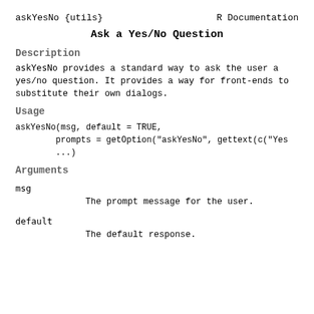askYesNo {utils}    R Documentation
Ask a Yes/No Question
Description
askYesNo provides a standard way to ask the user a yes/no question. It provides a way for front-ends to substitute their own dialogs.
Usage
Arguments
msg	The prompt message for the user.
default	The default response.